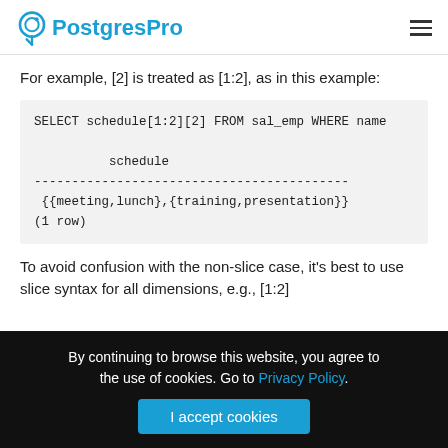PostgresPro
For example, [2] is treated as [1:2], as in this example:
SELECT schedule[1:2][2] FROM sal_emp WHERE name

          schedule
------------------------------------------
 {{meeting,lunch},{training,presentation}}
(1 row)
To avoid confusion with the non-slice case, it's best to use slice syntax for all dimensions, e.g., [1:2]
By continuing to browse this website, you agree to the use of cookies. Go to Privacy Policy.